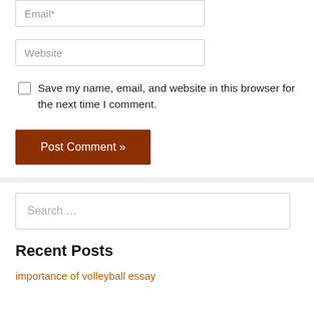[Figure (screenshot): Email input field with placeholder text 'Email*']
[Figure (screenshot): Website input field with placeholder text 'Website']
Save my name, email, and website in this browser for the next time I comment.
[Figure (screenshot): Post Comment button with brown background]
[Figure (screenshot): Search input box with placeholder 'Search ...']
Recent Posts
importance of volleyball essay